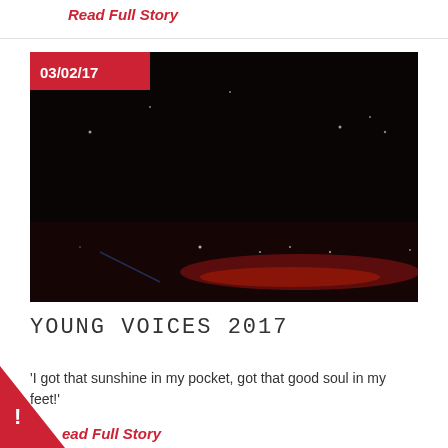Read Full Story
[Figure (photo): Dark nighttime photo of a large indoor arena with scattered small lights and a red glow at the bottom, dated 03/02/17]
YOUNG VOICES 2017
'I got that sunshine in my pocket, got that good soul in my feet!'
Read Full Story